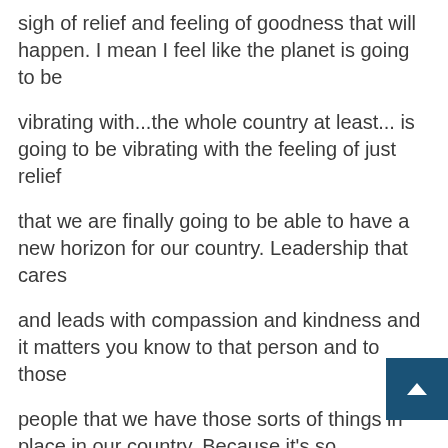sigh of relief and feeling of goodness that will happen. I mean I feel like the planet is going to be
vibrating with...the whole country at least... is going to be vibrating with the feeling of just relief
that we are finally going to be able to have a new horizon for our country. Leadership that cares
and leads with compassion and kindness and it matters you know to that person and to those
people that we have those sorts of things in place in our country. Because it's so
lacking right now I think people are just so upset every day when they see the news and it's just
how did we get here? Why are we here?